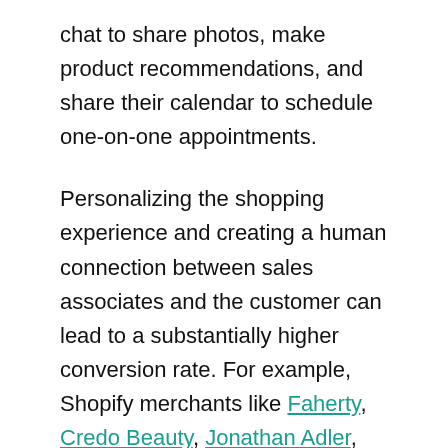chat to share photos, make product recommendations, and share their calendar to schedule one-on-one appointments.
Personalizing the shopping experience and creating a human connection between sales associates and the customer can lead to a substantially higher conversion rate. For example, Shopify merchants like Faherty, Credo Beauty, Jonathan Adler, and Untuckit have partnered with Hero so their sales associates can share their knowledge and expertise directly with customers.Sales are attributed to store associates; therefore, they're incentivized to build a base of loyal customers for the